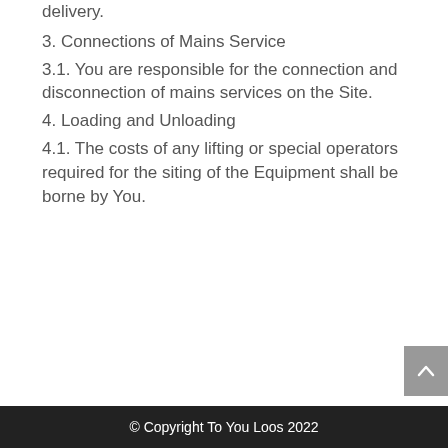delivery.
3. Connections of Mains Service
3.1. You are responsible for the connection and disconnection of mains services on the Site.
4. Loading and Unloading
4.1. The costs of any lifting or special operators required for the siting of the Equipment shall be borne by You.
© Copyright To You Loos 2022